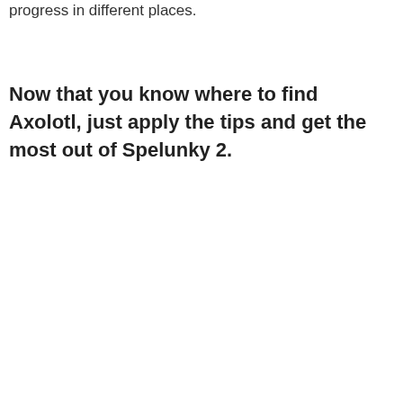progress in different places.
Now that you know where to find Axolotl, just apply the tips and get the most out of Spelunky 2.